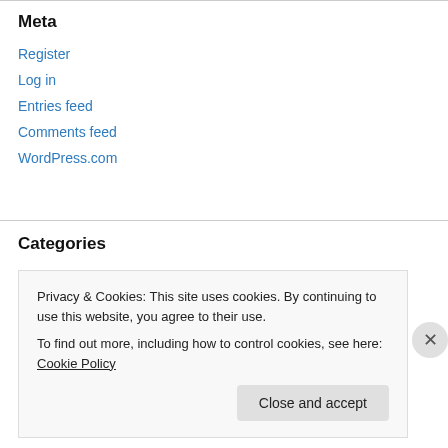Meta
Register
Log in
Entries feed
Comments feed
WordPress.com
Categories
Architecture
Atheism
Privacy & Cookies: This site uses cookies. By continuing to use this website, you agree to their use.
To find out more, including how to control cookies, see here: Cookie Policy